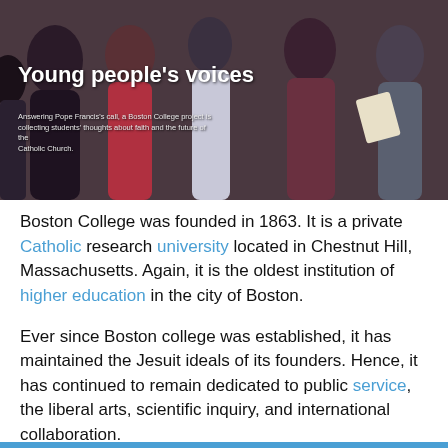[Figure (photo): Photo of young people in a church/gathering setting with overlay text 'Young people's voices' and subtitle 'Answering Pope Francis's call, a Boston College project is collecting students' thoughts about faith and the future of the Catholic Church.']
Boston College was founded in 1863. It is a private Catholic research university located in Chestnut Hill, Massachusetts. Again, it is the oldest institution of higher education in the city of Boston.
Ever since Boston college was established, it has maintained the Jesuit ideals of its founders. Hence, it has continued to remain dedicated to public service, the liberal arts, scientific inquiry, and international collaboration.